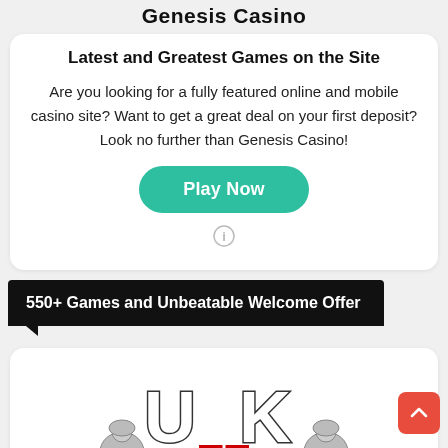Genesis Casino
Latest and Greatest Games on the Site
Are you looking for a fully featured online and mobile casino site? Want to get a great deal on your first deposit? Look no further than Genesis Casino!
[Figure (other): Play Now button — rounded teal/green button with white bold text]
[Figure (other): Info icon — circle with letter i]
550+ Games and Unbeatable Welcome Offer
[Figure (logo): UK heraldic crest logo with two lions flanking a shield bearing the Union Jack flag, with large 'UK' letters above]